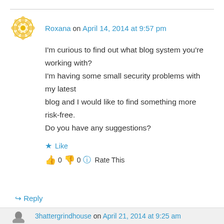Roxana on April 14, 2014 at 9:57 pm
I'm curious to find out what blog system you're working with? I'm having some small security problems with my latest blog and I would like to find something more risk-free. Do you have any suggestions?
★ Like
👍 0 👎 0 ℹ Rate This
↳ Reply
3hattergrindhouse on April 21, 2014 at 9:25 am